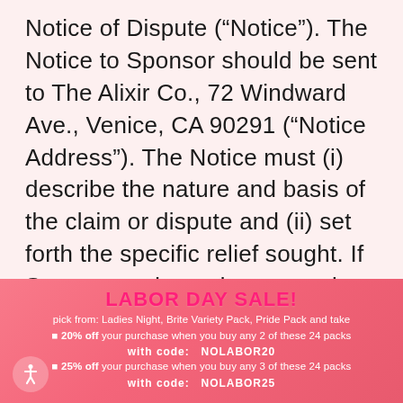Notice of Dispute (“Notice”). The Notice to Sponsor should be sent to The Alixir Co., 72 Windward Ave., Venice, CA 90291 (“Notice Address”). The Notice must (i) describe the nature and basis of the claim or dispute and (ii) set forth the specific relief sought. If Sponsor and you do not resolve the claim within sixty (60)
LABOR DAY SALE! pick from: Ladies Night, Brite Variety Pack, Pride Pack and take ■ 20% off your purchase when you buy any 2 of these 24 packs with code: NOLABOR20 ■ 25% off your purchase when you buy any 3 of these 24 packs with code: NOLABOR25